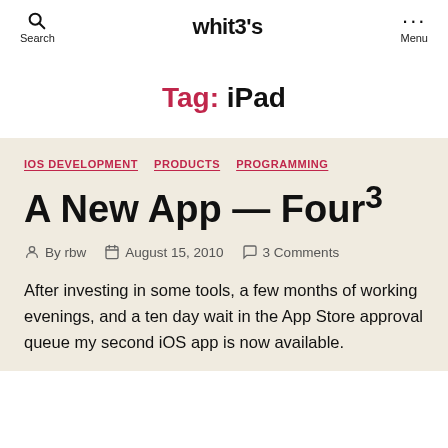whit3's
Tag: iPad
IOS DEVELOPMENT   PRODUCTS   PROGRAMMING
A New App — Four³
By rbw   August 15, 2010   3 Comments
After investing in some tools, a few months of working evenings, and a ten day wait in the App Store approval queue my second iOS app is now available.